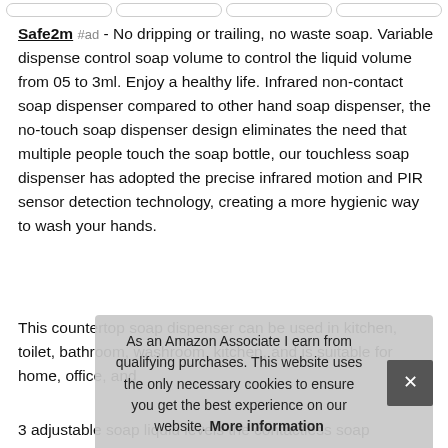[Navigation buttons row]
Safe2m #ad - No dripping or trailing, no waste soap. Variable dispense control soap volume to control the liquid volume from 05 to 3ml. Enjoy a healthy life. Infrared non-contact soap dispenser compared to other hand soap dispenser, the no-touch soap dispenser design eliminates the need that multiple people touch the soap bottle, our touchless soap dispenser has adopted the precise infrared motion and PIR sensor detection technology, creating a more hygienic way to wash your hands.
This countertop soap dispenser can be used in kitchen, toilet, bathroom, washroom, kitchen, and is suitable for home, office, and
As an Amazon Associate I earn from qualifying purchases. This website uses the only necessary cookies to ensure you get the best experience on our website. More information
3 adjustable soap liquid levels the contactless soap dispenser